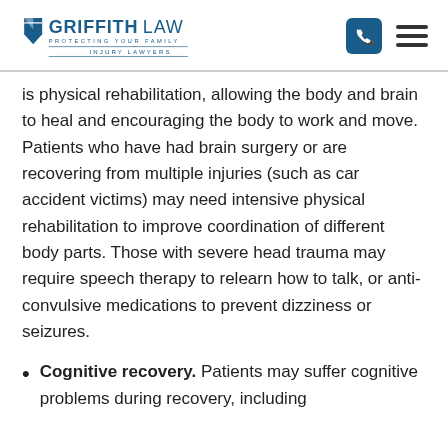Griffith Law — Protecting Your Family — Injury Lawyers
is physical rehabilitation, allowing the body and brain to heal and encouraging the body to work and move. Patients who have had brain surgery or are recovering from multiple injuries (such as car accident victims) may need intensive physical rehabilitation to improve coordination of different body parts. Those with severe head trauma may require speech therapy to relearn how to talk, or anti-convulsive medications to prevent dizziness or seizures.
Cognitive recovery. Patients may suffer cognitive problems during recovery, including